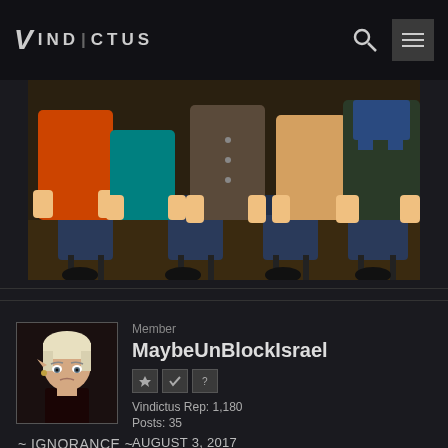VINDICTUS
[Figure (screenshot): Banner image showing South Park animated characters sitting in theater/movie seats, viewed from behind at waist level. Characters wearing orange, teal, dark green jackets and blue overalls.]
Member
MaybeUnBlockIsrael
Vindictus Rep: 1,180
Posts: 35
AUGUST 3, 2017
~ IGNORANCE ~